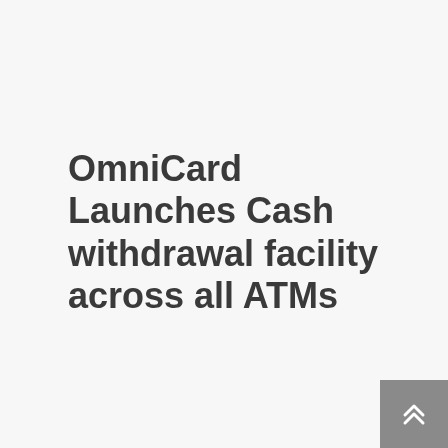OmniCard Launches Cash withdrawal facility across all ATMs